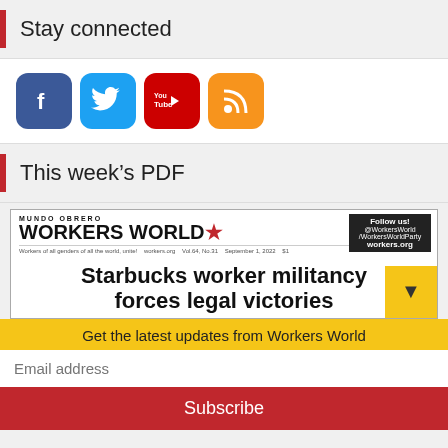Stay connected
[Figure (illustration): Social media icons: Facebook, Twitter, YouTube, RSS feed]
This week's PDF
[Figure (screenshot): Workers World newspaper front page with headline: Starbucks worker militancy forces legal victories]
Get the latest updates from Workers World
Email address
Subscribe